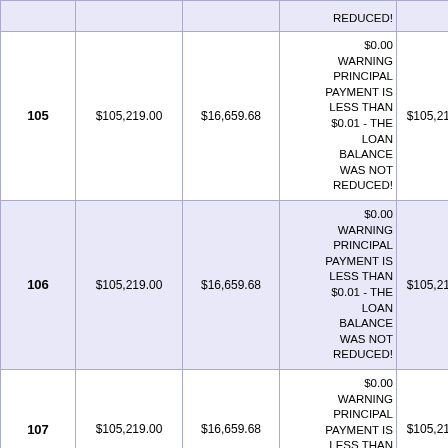|  |  |  |  |  |
| --- | --- | --- | --- | --- |
|  |  |  | REDUCED! |  |
| 105 | $105,219.00 | $16,659.68 | $0.00 WARNING PRINCIPAL PAYMENT IS LESS THAN $0.01 - THE LOAN BALANCE WAS NOT REDUCED! | $105,219.00 |
| 106 | $105,219.00 | $16,659.68 | $0.00 WARNING PRINCIPAL PAYMENT IS LESS THAN $0.01 - THE LOAN BALANCE WAS NOT REDUCED! | $105,219.00 |
| 107 | $105,219.00 | $16,659.68 | $0.00 WARNING PRINCIPAL PAYMENT IS LESS THAN $0.01 - THE LOAN BALANCE WAS NOT REDUCED! | $105,219.00 |